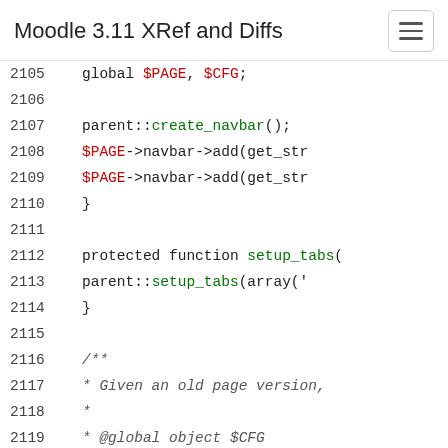Moodle 3.11 XRef and Diffs
[Figure (screenshot): Source code viewer showing PHP code lines 2105-2123 from Moodle 3.11, with line numbers on the left and syntax-highlighted code on the right.]